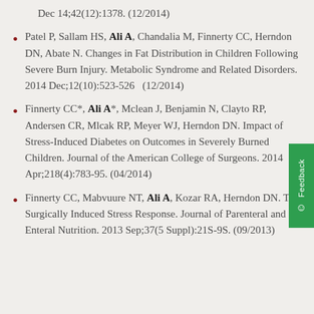Dec 14;42(12):1378. (12/2014)
Patel P, Sallam HS, Ali A, Chandalia M, Finnerty CC, Herndon DN, Abate N. Changes in Fat Distribution in Children Following Severe Burn Injury. Metabolic Syndrome and Related Disorders. 2014 Dec;12(10):523-526  (12/2014)
Finnerty CC*, Ali A*, Mclean J, Benjamin N, Clayton RP, Andersen CR, Mlcak RP, Meyer WJ, Herndon DN. Impact of Stress-Induced Diabetes on Outcomes in Severely Burned Children. Journal of the American College of Surgeons. 2014 Apr;218(4):783-95. (04/2014)
Finnerty CC, Mabvuure NT, Ali A, Kozar RA, Herndon DN. The Surgically Induced Stress Response. Journal of Parenteral and Enteral Nutrition. 2013 Sep;37(5 Suppl):21S-9S. (09/2013)